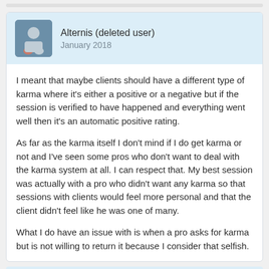Alternis (deleted user)
January 2018
I meant that maybe clients should have a different type of karma where it's either a positive or a negative but if the session is verified to have happened and everything went well then it's an automatic positive rating.

As far as the karma itself I don't mind if I do get karma or not and I've seen some pros who don't want to deal with the karma system at all. I can respect that. My best session was actually with a pro who didn't want any karma so that sessions with clients would feel more personal and that the client didn't feel like he was one of many.

What I do have an issue with is when a pro asks for karma but is not willing to return it because I consider that selfish.